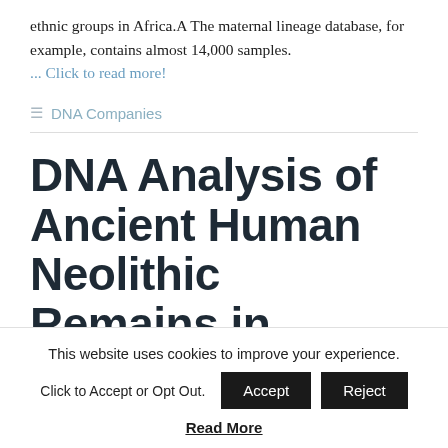ethnic groups in Africa.A The maternal lineage database, for example, contains almost 14,000 samples.
... Click to read more!
DNA Companies
DNA Analysis of Ancient Human Neolithic Remains in
This website uses cookies to improve your experience. Click to Accept or Opt Out.
Read More